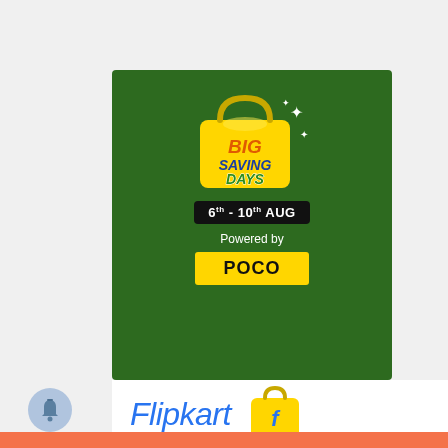[Figure (infographic): Flipkart Big Saving Days promotional banner on dark green background. Shows a yellow shopping bag logo with text 'BIG SAVING DAYS', a date pill '6th - 10th AUG', 'Powered by POCO' text with POCO logo in yellow box. Below is Flipkart logo (blue italic text and yellow shopping bag icon). A notification bell circle is on the lower left. Bottom orange strip visible.]